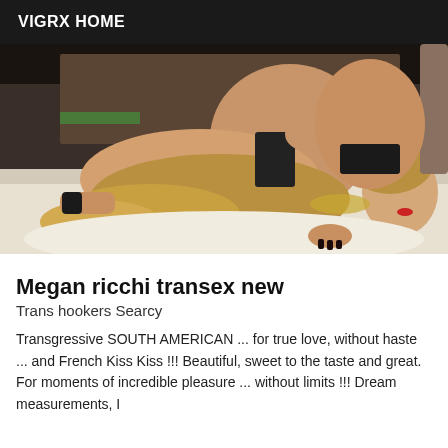VIGRX HOME
[Figure (photo): A person with long blonde hair posing on a white surface, wearing a black and leopard print outfit with jewelry, viewed from a low angle.]
Megan ricchi transex new
Trans hookers Searcy
Transgressive SOUTH AMERICAN ... for true love, without haste ... and French Kiss Kiss !!! Beautiful, sweet to the taste and great. For moments of incredible pleasure ... without limits !!! Dream measurements, I